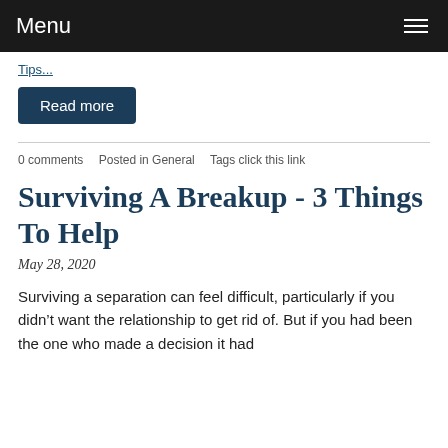Menu
Tips...
Read more
0 comments   Posted in General   Tags click this link
Surviving A Breakup - 3 Things To Help
May 28, 2020
Surviving a separation can feel difficult, particularly if you didn’t want the relationship to get rid of. But if you had been the one who made a decision it had